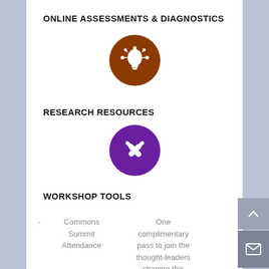ONLINE ASSESSMENTS & DIAGNOSTICS
[Figure (illustration): Brown circle icon with a lightbulb and connection nodes symbol]
RESEARCH RESOURCES
[Figure (illustration): Purple circle icon with crossed wrench and screwdriver (tools) symbol]
WORKSHOP TOOLS
Commons Summit Attendance — One complimentary pass to join the thought-leaders shaping this